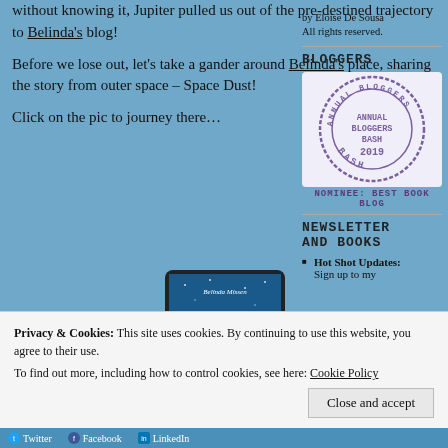without knowing it, Jupiter pulled us out of the pre-destined trajectory to Belinda's blog!
Before we lose out, let's take a gander around Belinda's place, sharing the story from outer space – Space Dust!
Click on the pic to journey there…
[Figure (photo): Book cover for 'One Week Till Christmas' by Belinda Missen displayed on a tablet/e-reader]
by Eloise De Sousa
All rights reserved.
BLOGGERS
[Figure (illustration): Annual Bloggers Bash 2019 stamp/badge logo in purple]
NOMINEE: BEST BOOK BLOG
NEWSLETTER AND BOOKS
Hot Shot Updates: Sign up to my
Privacy & Cookies: This site uses cookies. By continuing to use this website, you agree to their use.
To find out more, including how to control cookies, see here: Cookie Policy
Close and accept
Twitter | Facebook | LinkedIn